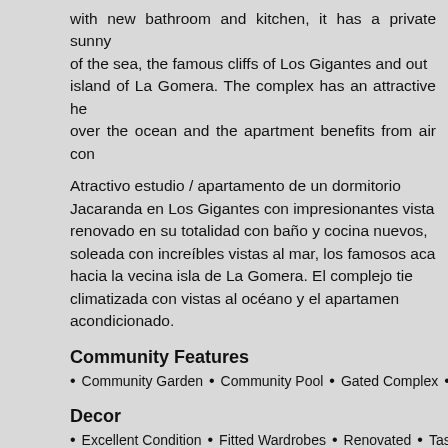with new bathroom and kitchen, it has a private sunny of the sea, the famous cliffs of Los Gigantes and out island of La Gomera. The complex has an attractive he over the ocean and the apartment benefits from air con
Atractivo estudio / apartamento de un dormitorio Jacaranda en Los Gigantes con impresionantes vista renovado en su totalidad con baño y cocina nuevos, soleada con increíbles vistas al mar, los famosos aca hacia la vecina isla de La Gomera. El complejo tie climatizada con vistas al océano y el apartamen acondicionado.
Community Features
Community Garden • Community Pool • Gated Complex • Well M
Decor
Excellent Condition • Fitted Wardrobes • Renovated • Tastefully
Exterior
Private terrace